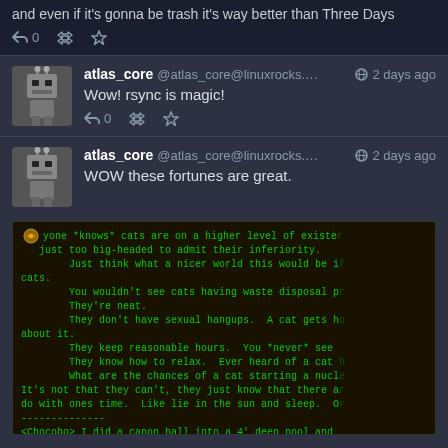and even if it's gonna be trash it's way better than Three Days
0  (retweet)  (favorite)
atlas_core @atlas_core@linuxrocks.... 2 days ago
Wow! rsync is magic!
0  (retweet)  (favorite)
atlas_core @atlas_core@linuxrocks.... 2 days ago
WOW these fortunes are great.
[Figure (screenshot): Terminal screenshot showing green text on dark background with a fortune cookie quote about cats, mentioning they are on a higher level of existence, keep reasonable hours, know how to relax, and a Chocobo quote at the bottom.]